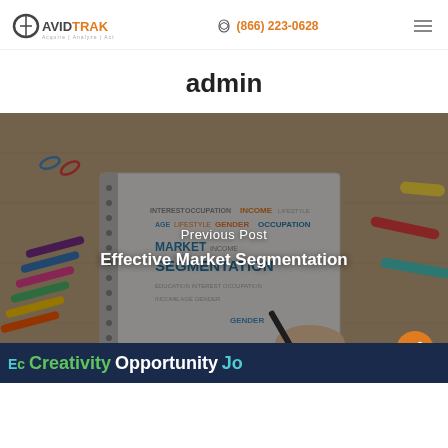AvidTrak | (866) 223-0628
admin
[Figure (photo): Photo of a notebook on a wooden desk surrounded by colorful markers and paper clips, with marketing segmentation words written on it. Overlay text reads 'Previous Post' and 'Effective Market Segmentation'. An orange share button is in the bottom-right corner.]
Previous Post
Effective Market Segmentation
Creativity  Opportunity  Confidence  Innovations  Job